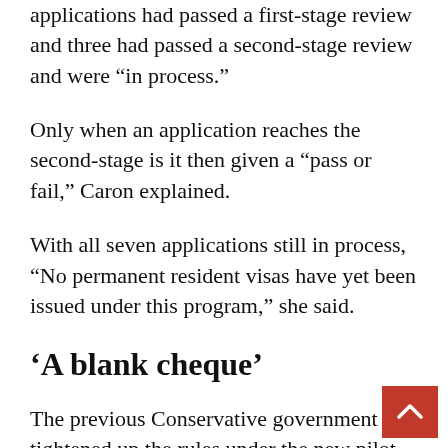applications had passed a first-stage review and three had passed a second-stage review and were “in process.”
Only when an application reaches the second-stage is it then given a “pass or fail,” Caron explained.
With all seven applications still in process, “No permanent resident visas have yet been issued under this program,” she said.
‘A blank cheque’
The previous Conservative government tightened up the rules under the new pilot after acknowledging that immigrant investors